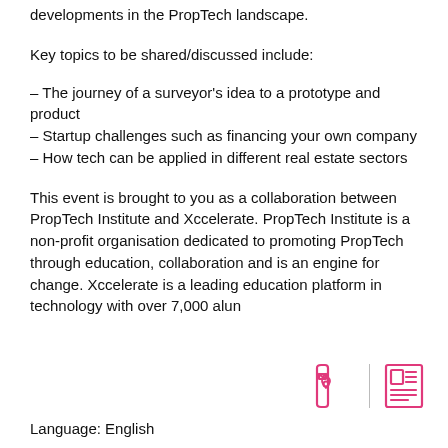developments in the PropTech landscape.
Key topics to be shared/discussed include:
– The journey of a surveyor's idea to a prototype and product
– Startup challenges such as financing your own company
– How tech can be applied in different real estate sectors
This event is brought to you as a collaboration between PropTech Institute and Xccelerate. PropTech Institute is a non-profit organisation dedicated to promoting PropTech through education, collaboration and is an engine for change. Xccelerate is a leading education platform in technology with over 7,000 alun
[Figure (illustration): Two pink icons: a phone with envelope and location pin, a vertical divider line, and a newspaper/document icon]
Language: English